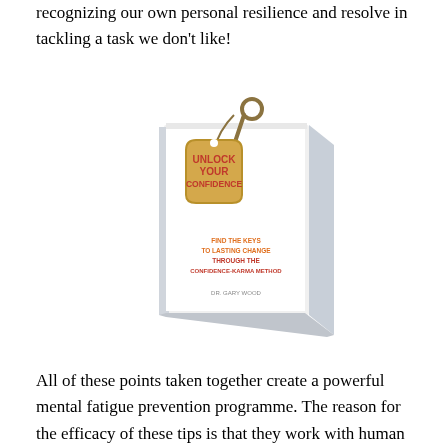recognizing our own personal resilience and resolve in tackling a task we don't like!
[Figure (illustration): Book cover illustration for 'Unlock Your Confidence: Find the Keys to Lasting Change Through the Confidence-Karma Method'. The cover shows a book with a key and luggage tag on the front, with red and orange text.]
All of these points taken together create a powerful mental fatigue prevention programme. The reason for the efficacy of these tips is that they work with human psychology rather than work against it thus building confidence in your own inherent abilities.